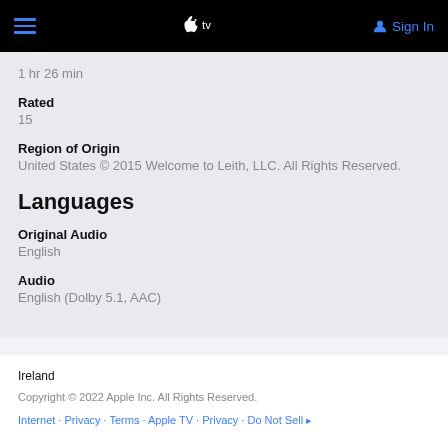Apple TV — Sign In
1 hr 26 min
Rated
15
Region of Origin
United States © 2015 Welcome to Leith, LLC. All Rights Reserved.
Languages
Original Audio
English
Audio
English (Dolby 5.1, AAC)
Ireland
Copyright © 2022 Apple Inc. All Rights Reserved.